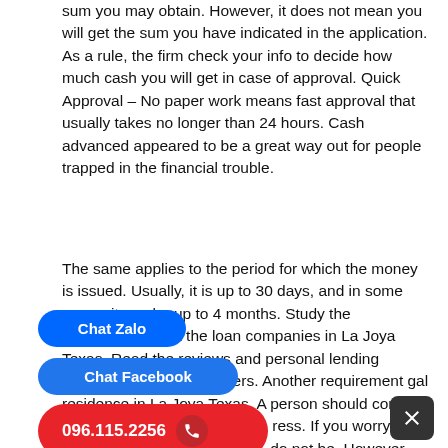sum you may obtain. However, it does not mean you will get the sum you have indicated in the application. As a rule, the firm check your info to decide how much cash you will get in case of approval. Quick Approval – No paper work means fast approval that usually takes no longer than 24 hours. Cash advanced appeared to be a great way out for people trapped in the financial trouble.
The same applies to the period for which the money is issued. Usually, it is up to 30 days, and in some cases, it can be up to 4 months. Study the information about the loan companies in La Joya Texas. Read the reviews and personal lending experience of the borrowers. Another requirement gal residence in La Joya Texas. A person should confirm a legal resident and indicate a ress. If you worry about your poor credit history, do not be. However, you should be nd have a stable income at least $1 000 per month. At this stage, we are